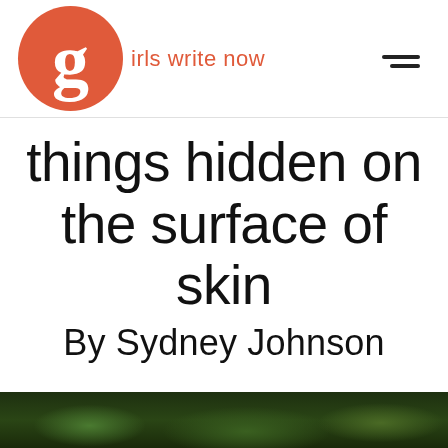girls write now
things hidden on the surface of skin
By Sydney Johnson
[Figure (photo): Dark green foliage/plant leaves photograph at the bottom of the page]